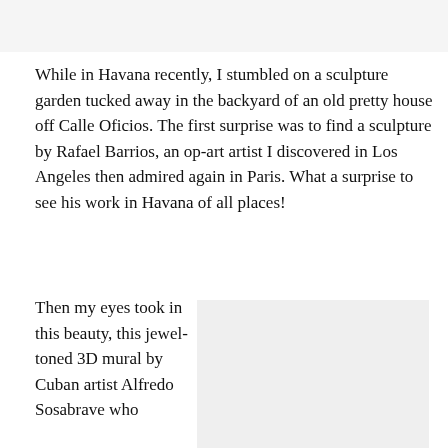While in Havana recently, I stumbled on a sculpture garden tucked away in the backyard of an old pretty house off Calle Oficios. The first surprise was to find a sculpture by Rafael Barrios, an op-art artist I discovered in Los Angeles then admired again in Paris. What a surprise to see his work in Havana of all places!
Then my eyes took in this beauty, this jewel-toned 3D mural by Cuban artist Alfredo Sosabrave who
[Figure (photo): A light grey rectangular placeholder image, likely showing the jewel-toned 3D mural by Cuban artist Alfredo Sosabrave.]